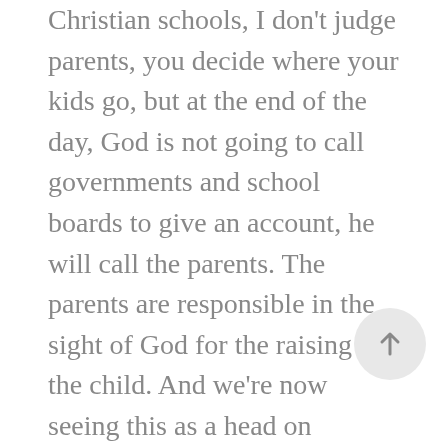Christian schools, I don't judge parents, you decide where your kids go, but at the end of the day, God is not going to call governments and school boards to give an account, he will call the parents. The parents are responsible in the sight of God for the raising of the child. And we're now seeing this as a head on collision culturally, and governments are saying, well, we know what's best for the child, the parents are like, sex education at five is not what's best for the child, but we're the government, right, and so you need to step back, because at the end of the day, God gives children to parents not to institutions. And so what's happening here, we can just look and say, what a crazy old text, you can say no, no, it's not just about what